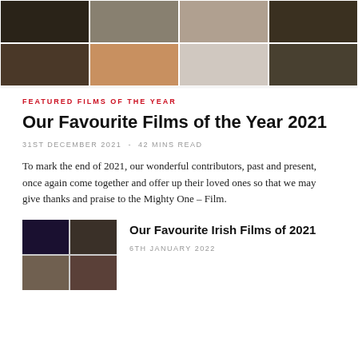[Figure (photo): Grid of film stills arranged in two rows of four images each, showing various movie scenes in color and black-and-white]
FEATURED FILMS OF THE YEAR
Our Favourite Films of the Year 2021
31ST DECEMBER 2021  -  42 MINS READ
To mark the end of 2021, our wonderful contributors, past and present, once again come together and offer up their loved ones so that we may give thanks and praise to the Mighty One – Film.
[Figure (photo): Thumbnail collage of four film stills for Our Favourite Irish Films of 2021 article]
Our Favourite Irish Films of 2021
6TH JANUARY 2022